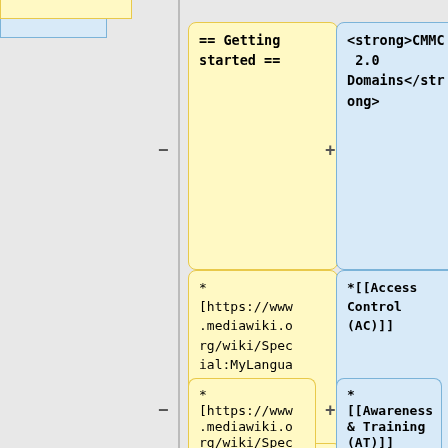[Figure (other): Diff view row 1 left: yellow box with monospace text '== Getting started ==']
[Figure (other): Diff view row 1 right: blue box with monospace text '<strong>CMMC 2.0 Domains</strong>']
[Figure (other): Diff view row 2 left: yellow box with monospace text '* [https://www.mediawiki.org/wiki/Special:MyLanguage/Manual:Configuration_settings Configuration settings list]']
[Figure (other): Diff view row 2 right: blue box with monospace text '*[[Access Control (AC)]]']
[Figure (other): Diff view row 3 left (partial): yellow box with monospace text '* [https://www.mediawiki.org/wiki/Spec']
[Figure (other): Diff view row 3 right (partial): blue box with monospace text '* [[Awareness & Training (AT)]]']